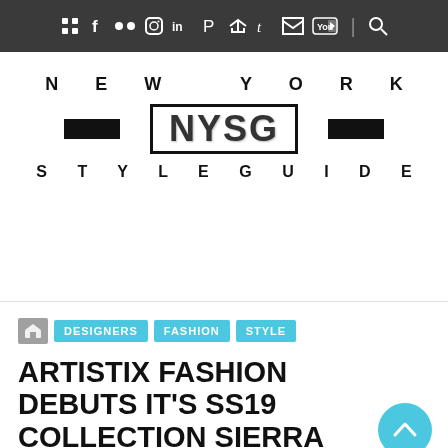Navigation bar with social media icons: Delicious, Facebook, Flickr, Instagram, LinkedIn, Pinterest, RSS, Tumblr, Twitter, YouTube, Search
[Figure (logo): New York Style Guide (NYSG) logo with black horizontal lines flanking the NYSG text box]
[Figure (other): White advertisement/blank area below logo]
DESIGNERS
FASHION
STYLE
ARTISTIX FASHION DEBUTS IT'S SS19 COLLECTION SIERRA